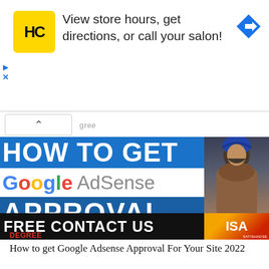[Figure (screenshot): Ad banner with HC logo (yellow square with black HC text), text 'View store hours, get directions, or call your salon!', blue diamond navigation arrow icon, play and close controls on left side]
[Figure (screenshot): Thumbnail image for article: 'HOW TO GET' in white on blue background, 'Google AdSense' in Google brand colors, 'APPROVAL' in white on dark blue, 'FREE CONTACT US' in white on black bar with ISA logo, person photo on right side, SATISHADSE watermark]
DEGREE
How to get Google Adsense Approval For Your Site 2022